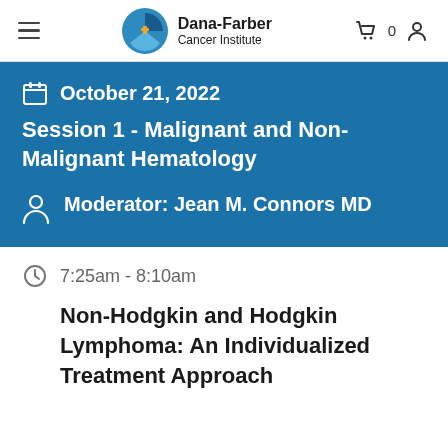Dana-Farber Cancer Institute
October 21, 2022
Session 1 - Malignant and Non-Malignant Hematology
Moderator: Jean M. Connors MD
7:25am - 8:10am
Non-Hodgkin and Hodgkin Lymphoma: An Individualized Treatment Approach